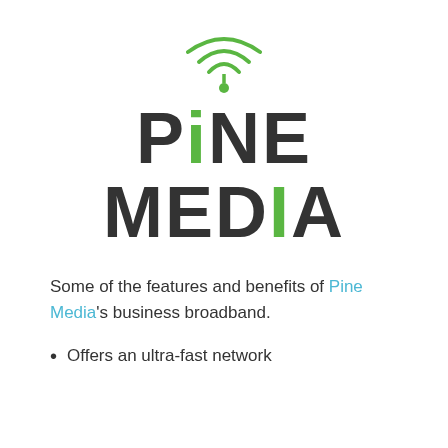[Figure (logo): Pine Media logo: green wifi/signal arc icon above bold dark text reading PINE MEDIA, with the letter I in PINE and the letter I in MEDIA rendered in green]
Some of the features and benefits of Pine Media's business broadband.
Offers an ultra-fast network